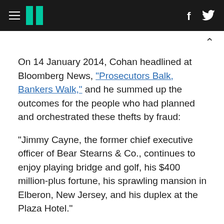HuffPost navigation logo with hamburger menu, facebook and twitter icons
On 14 January 2014, Cohan headlined at Bloomberg News, "Prosecutors Balk, Bankers Walk," and he summed up the outcomes for the people who had planned and orchestrated these thefts by fraud:
"Jimmy Cayne, the former chief executive officer of Bear Stearns & Co., continues to enjoy playing bridge and golf, his $400 million-plus fortune, his sprawling mansion in Elberon, New Jersey, and his duplex at the Plaza Hotel."